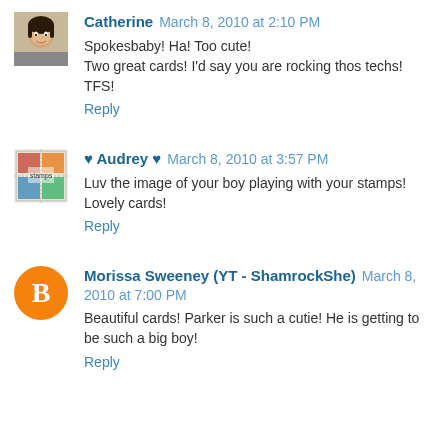[Figure (photo): Small avatar photo of Catherine, a woman with dark hair]
Catherine  March 8, 2010 at 2:10 PM
Spokesbaby! Ha! Too cute!
Two great cards! I'd say you are rocking thos techs! TFS!
Reply
[Figure (photo): Small avatar image of colorful stamps/art]
♥ Audrey ♥  March 8, 2010 at 3:57 PM
Luv the image of your boy playing with your stamps! Lovely cards!
Reply
[Figure (logo): Orange Blogger 'B' logo avatar for Morissa Sweeney]
Morissa Sweeney (YT - ShamrockShe)  March 8, 2010 at 7:00 PM
Beautiful cards! Parker is such a cutie! He is getting to be such a big boy!
Reply